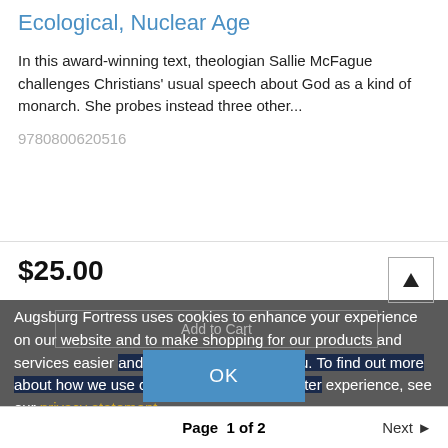Ecological, Nuclear Age
In this award-winning text, theologian Sallie McFague challenges Christians' usual speech about God as a kind of monarch. She probes instead three other...
9780800620516
$25.00
Augsburg Fortress uses cookies to enhance your experience on our website and to make shopping for our products and services easier and more convenient for you. To find out more about how we use cookies to give you a better experience, see our privacy statement.
OK
Page 1 of 2   Next ▶